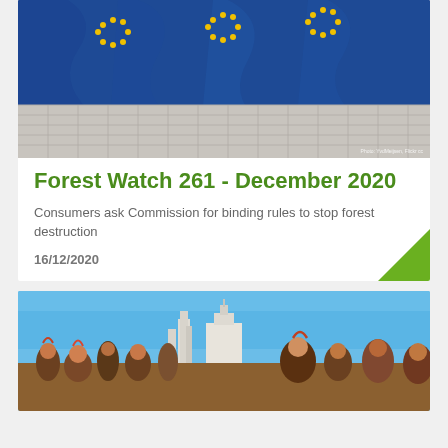[Figure (photo): European Union flags waving in front of a building with a grid facade (European Commission building in Brussels)]
Forest Watch 261 - December 2020
Consumers ask Commission for binding rules to stop forest destruction
16/12/2020
[Figure (photo): Protest or gathering crowd scene outdoors under blue sky, with a large building visible in background, people in traditional or ceremonial attire]